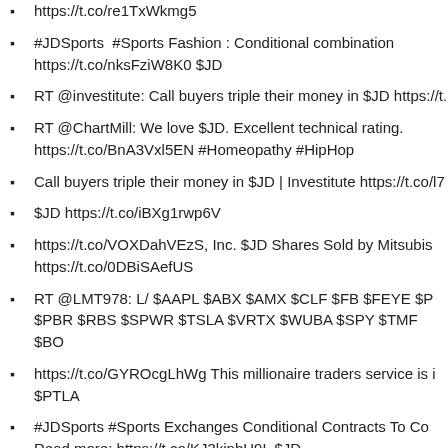https://t.co/re1TxWkmg5
#JDSports #Sports Fashion : Conditional combination https://t.co/nksFziW8K0 $JD
RT @investitute: Call buyers triple their money in $JD https://t.
RT @ChartMill: We love $JD. Excellent technical rating. https://t.co/BnA3Vxl5EN #Homeopathy #HipHop
Call buyers triple their money in $JD | Investitute https://t.co/l7
$JD https://t.co/iBXg1rwp6V
https://t.co/VOXDahVEzS, Inc. $JD Shares Sold by Mitsubis https://t.co/0DBiSAefUS
RT @LMT978: L/ $AAPL $ABX $AMX $CLF $FB $FEYE $P $PBR $RBS $SPWR $TSLA $VRTX $WUBA $SPY $TMF $BO
https://t.co/GYROcgLhWg This millionaire traders service is i $PTLA
#JDSports #Sports Exchanges Conditional Contracts To Co Read more: https://t.co/KJ3kinbH9L $JD